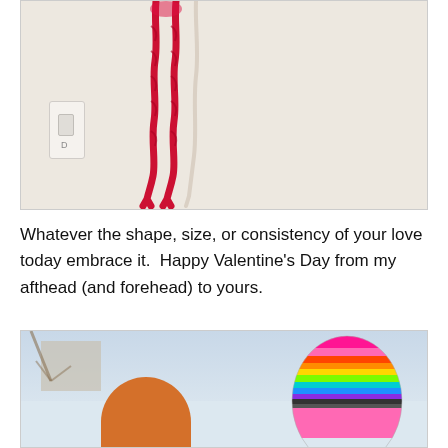[Figure (photo): Close-up photo of red knitted/crocheted yarn hanging down against a white textured wall, with a light switch visible on the left side.]
Whatever the shape, size, or consistency of your love today embrace it.  Happy Valentine's Day from my afthead (and forehead) to yours.
[Figure (photo): Photo of two people wearing winter hats outdoors in a snowy setting. Left person wears an orange/tan hat, right person wears a colorful striped knit hat with rainbow colors.]